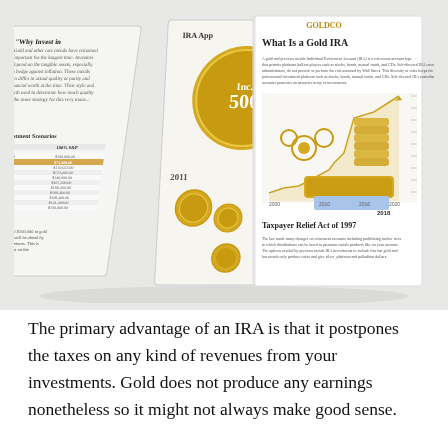[Figure (illustration): A 3D-style open booklet/brochure about Gold IRA investing, showing multiple pages fanned out. Visible page content includes 'Why Invest in [Gold]', 'IRA App[roved]', Inc. 500 medallion, gold coins and gears imagery, 'What Is a Gold IRA' section, a line chart showing gold price growth from 2000 to 2020 with 2018 labeled, a hand holding a gold bar over a rising market, 'Investment Scenarios' table, and 'Taxpayer Relief Act of 1997' section.]
The primary advantage of an IRA is that it postpones the taxes on any kind of revenues from your investments. Gold does not produce any earnings nonetheless so it might not always make good sense.